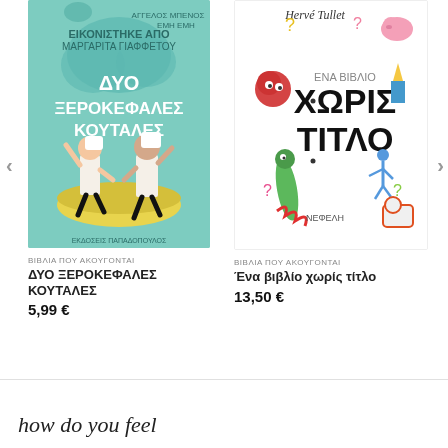[Figure (illustration): Book cover for 'ΔΥΟ ΞΕΡΟΚΕΦΑΛΕΣ ΚΟΥΤΑΛΕΣ' - teal/mint colored cover showing two cartoon chefs dancing, published by Εκδόσεις Παπαδόπουλος]
[Figure (illustration): Book cover for 'ΕΝΑ ΒΙΒΛΙΟ ΧΩΡΙΣ ΤΙΤΛΟ' by Hervé Tullet - white cover with colorful hand-drawn doodles including question marks, stick figures, animals, and colorful shapes. Published by ΝΕΦΕΛΗ]
ΒΙΒΛΙΑ ΠΟΥ ΑΚΟΥΓΟΝΤΑΙ
ΔΥΟ ΞΕΡΟΚΕΦΑΛΕΣ ΚΟΥΤΑΛΕΣ
5,99 €
ΒΙΒΛΙΑ ΠΟΥ ΑΚΟΥΓΟΝΤΑΙ
Ένα βιβλίο χωρίς τίτλο
13,50 €
how do you feel